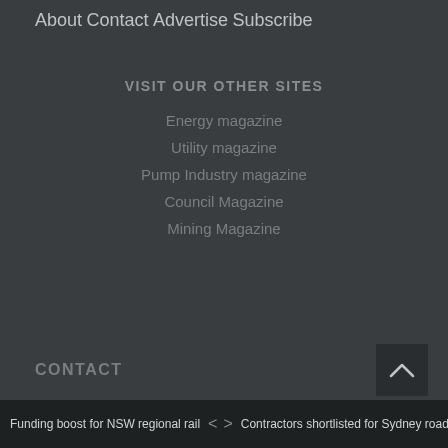About
Contact
Advertise
Subscribe
VISIT OUR OTHER SITES
Energy magazine
Utility magazine
Pump Industry magazine
Council Magazine
Mining Magazine
CONTACT
Funding boost for NSW regional rail   <   >   Contractors shortlisted for Sydney road ...